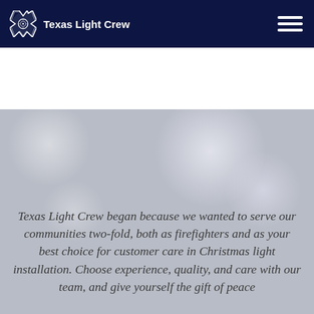Texas Light Crew
[Figure (logo): Texas Light Crew logo: white maltese cross / firefighter emblem SVG icon followed by bold white text 'Texas Light Crew' on dark navy background, with hamburger menu icon on the right]
[Figure (photo): Bokeh blurred background with soft glowing circular light orbs in gray and white tones]
Texas Light Crew began because we wanted to serve our communities two-fold, both as firefighters and as your best choice for customer care in Christmas light installation. Choose experience, quality, and care with our team, and give yourself the gift of peace